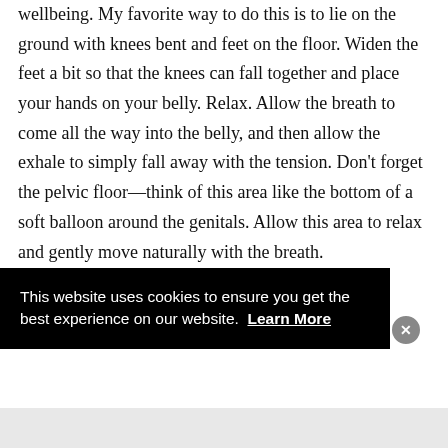wellbeing. My favorite way to do this is to lie on the ground with knees bent and feet on the floor. Widen the feet a bit so that the knees can fall together and place your hands on your belly. Relax. Allow the breath to come all the way into the belly, and then allow the exhale to simply fall away with the tension. Don't forget the pelvic floor—think of this area like the bottom of a soft balloon around the genitals. Allow this area to relax and gently move naturally with the breath.
This website uses cookies to ensure you get the best experience on our website. Learn More